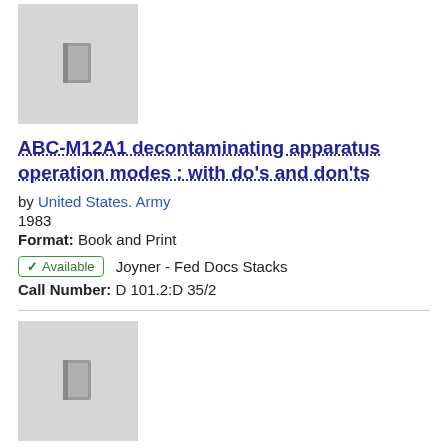[Figure (illustration): Gray book thumbnail placeholder image with small book icon]
ABC-M12A1 decontaminating apparatus operation modes : with do's and don'ts
by United States. Army
1983
Format: Book and Print
✓ Available   Joyner - Fed Docs Stacks
Call Number: D 101.2:D 35/2
[Figure (illustration): Gray book thumbnail placeholder image with small book icon]
The A-B-C of desalting
by United States. Office of Water Research and Technology